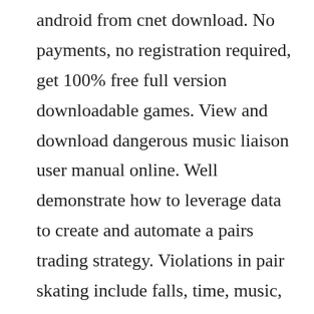android from cnet download. No payments, no registration required, get 100% free full version downloadable games. View and download dangerous music liaison user manual online. Well demonstrate how to leverage data to create and automate a pairs trading strategy. Violations in pair skating include falls, time, music, and clothing. It focuses on teaching kids the skills of the game and giving them the tools that they need to not only win, but to also grow developmentally. Im just looking dangerous dating to have a